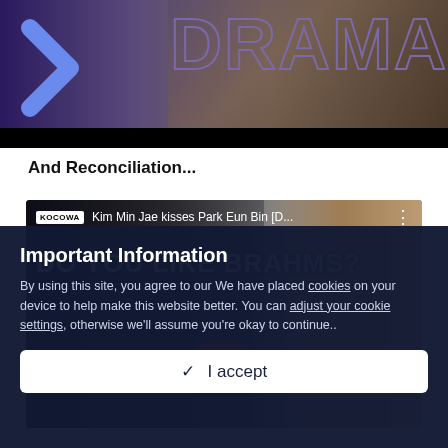[Figure (screenshot): Top banner image showing a drama scene with dark purple/indigo background, a blue chevron arrow on the left, and large outlined text 'DRAMA' on the right. A black bar runs along the bottom.]
And Reconciliation...
[Figure (screenshot): YouTube video embed thumbnail showing 'KOCOWA' logo, title 'Kim Min Jae kisses Park Eun Bin [D...' with three-dot menu, subtitle 'DO YOU LIKE BRAHMS?' overlay text, red YouTube play button in center, and a woman's face visible on the right side.]
Important Information
By using this site, you agree to our We have placed cookies on your device to help make this website better. You can adjust your cookie settings, otherwise we'll assume you're okay to continue..
✓  I accept